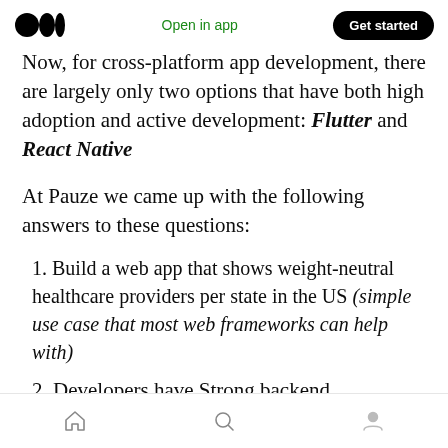Open in app | Get started
Now, for cross-platform app development, there are largely only two options that have both high adoption and active development: Flutter and React Native
At Pauze we came up with the following answers to these questions:
1. Build a web app that shows weight-neutral healthcare providers per state in the US (simple use case that most web frameworks can help with)
2. Developers have Strong backend
Home | Search | Profile